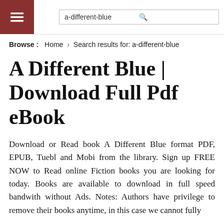a-different-blue
Browse : Home > Search results for: a-different-blue
A Different Blue | Download Full Pdf eBook
Download or Read book A Different Blue format PDF, EPUB, Tuebl and Mobi from the library. Sign up FREE NOW to Read online Fiction books you are looking for today. Books are available to download in full speed bandwith without Ads. Notes: Authors have privilege to remove their books anytime, in this case we cannot fully